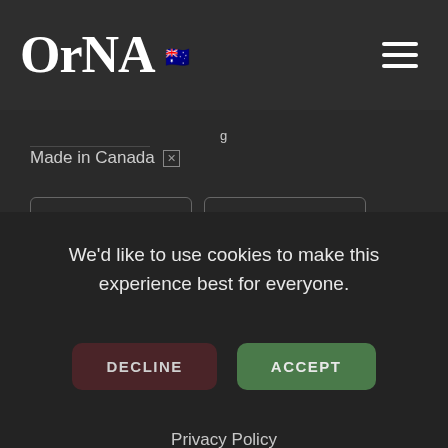ORNA
Made in Canada
We'd like to use cookies to make this experience best for everyone.
DECLINE
ACCEPT
Privacy Policy